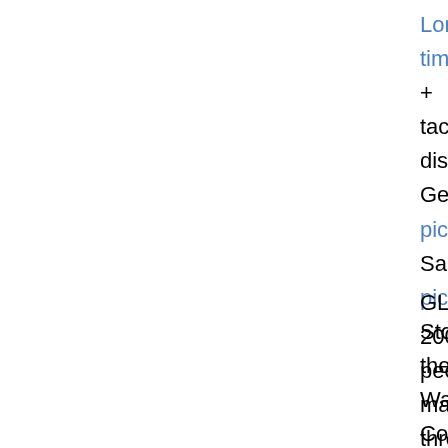London timeline + tactics discussion General pictures, Samba pics, Stop the War Coalition pics.
GLASGOW: 2000 people marched through the city centre of Glasgow in